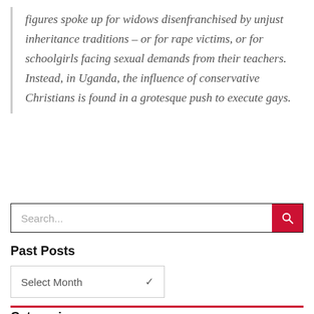figures spoke up for widows disenfranchised by unjust inheritance traditions – or for rape victims, or for schoolgirls facing sexual demands from their teachers. Instead, in Uganda, the influence of conservative Christians is found in a grotesque push to execute gays.
[Figure (other): Search bar with red search button and magnifying glass icon]
Past Posts
Select Month
Categories